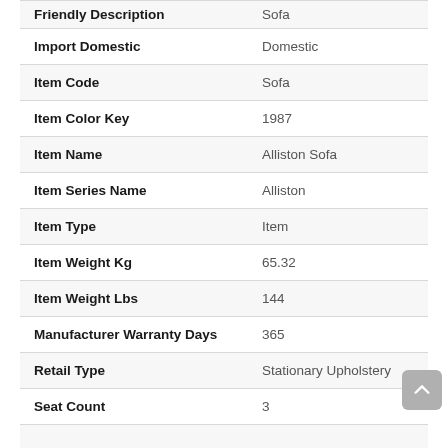| Property | Value |
| --- | --- |
| Friendly Description | Sofa |
| Import Domestic | Domestic |
| Item Code | Sofa |
| Item Color Key | 1987 |
| Item Name | Alliston Sofa |
| Item Series Name | Alliston |
| Item Type | Item |
| Item Weight Kg | 65.32 |
| Item Weight Lbs | 144 |
| Manufacturer Warranty Days | 365 |
| Retail Type | Stationary Upholstery |
| Seat Count | 3 |